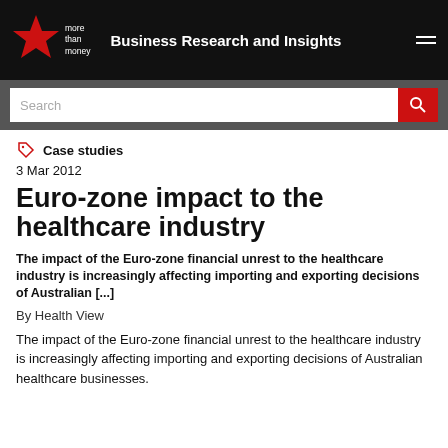Business Research and Insights
Case studies
3 Mar 2012
Euro-zone impact to the healthcare industry
The impact of the Euro-zone financial unrest to the healthcare industry is increasingly affecting importing and exporting decisions of Australian [...]
By Health View
The impact of the Euro-zone financial unrest to the healthcare industry is increasingly affecting importing and exporting decisions of Australian healthcare businesses.